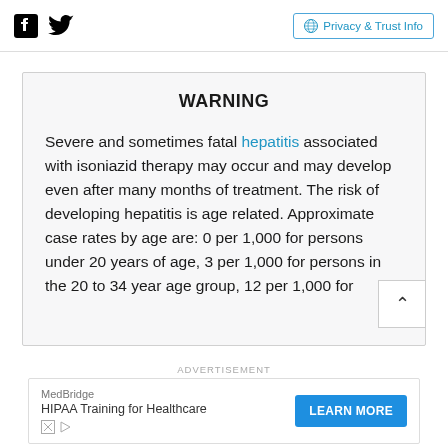Facebook Twitter | Privacy & Trust Info
WARNING
Severe and sometimes fatal hepatitis associated with isoniazid therapy may occur and may develop even after many months of treatment. The risk of developing hepatitis is age related. Approximate case rates by age are: 0 per 1,000 for persons under 20 years of age, 3 per 1,000 for persons in the 20 to 34 year age group, 12 per 1,000 for
ADVERTISEMENT
MedBridge HIPAA Training for Healthcare | LEARN MORE